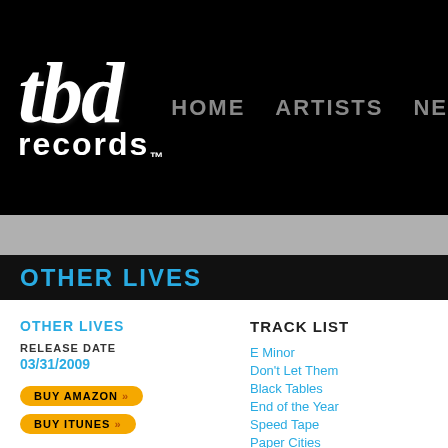tbd records | HOME ARTISTS NE
OTHER LIVES
OTHER LIVES
RELEASE DATE
03/31/2009
BUY AMAZON >>
BUY ITUNES >>
TRACK LIST
E Minor
Don't Let Them
Black Tables
End of the Year
Speed Tape
Paper Cities
Matador
It Was the Night
How Could This Be?
AM Theme
Epic